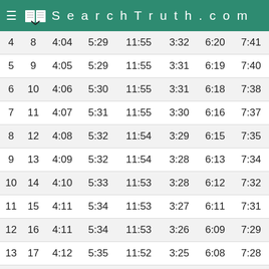SearchTruth.com
| 4 | 8 | 4:04 | 5:29 | 11:55 | 3:32 | 6:20 | 7:41 |
| 5 | 9 | 4:05 | 5:29 | 11:55 | 3:31 | 6:19 | 7:40 |
| 6 | 10 | 4:06 | 5:30 | 11:55 | 3:31 | 6:18 | 7:38 |
| 7 | 11 | 4:07 | 5:31 | 11:55 | 3:30 | 6:16 | 7:37 |
| 8 | 12 | 4:08 | 5:32 | 11:54 | 3:29 | 6:15 | 7:35 |
| 9 | 13 | 4:09 | 5:32 | 11:54 | 3:28 | 6:13 | 7:34 |
| 10 | 14 | 4:10 | 5:33 | 11:53 | 3:28 | 6:12 | 7:32 |
| 11 | 15 | 4:11 | 5:34 | 11:53 | 3:27 | 6:11 | 7:31 |
| 12 | 16 | 4:11 | 5:34 | 11:53 | 3:26 | 6:09 | 7:29 |
| 13 | 17 | 4:12 | 5:35 | 11:52 | 3:25 | 6:08 | 7:28 |
| 14 | 18 | 4:13 | 5:36 | 11:52 | 3:24 | 6:07 | 7:26 |